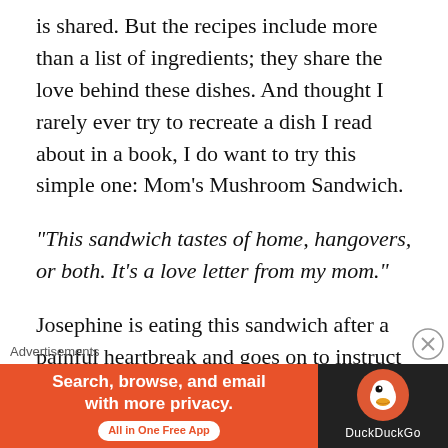is shared. But the recipes include more than a list of ingredients; they share the love behind these dishes. And thought I rarely ever try to recreate a dish I read about in a book, I do want to try this simple one: Mom's Mushroom Sandwich.
“This sandwich tastes of home, hangovers, or both. It’s a love letter from my mom.”
Josephine is eating this sandwich after a painful heartbreak and goes on to instruct that, “The bread takes a backseat to the snowcapped mushrooms, allowing their umami goodness to shine through. Further, a reliable white sandwich bread won’t crumble, even when it’s the
[Figure (other): DuckDuckGo advertisement banner: orange left panel with 'Search, browse, and email with more privacy. All in One Free App' and dark right panel with DuckDuckGo logo]